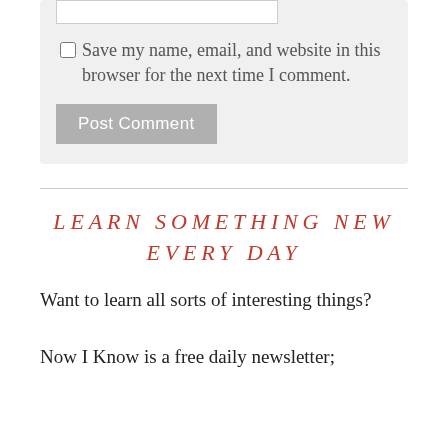Save my name, email, and website in this browser for the next time I comment.
Post Comment
LEARN SOMETHING NEW EVERY DAY
Want to learn all sorts of interesting things?
Now I Know is a free daily newsletter;